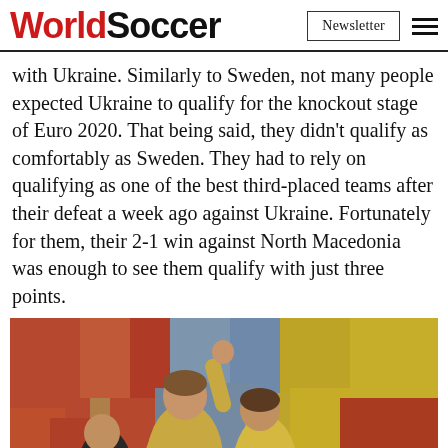WorldSoccer | Newsletter
with Ukraine. Similarly to Sweden, not many people expected Ukraine to qualify for the knockout stage of Euro 2020. That being said, they didn't qualify as comfortably as Sweden. They had to rely on qualifying as one of the best third-placed teams after their defeat a week ago against Ukraine. Fortunately for them, their 2-1 win against North Macedonia was enough to see them qualify with just three points.
[Figure (photo): Two football players in yellow Ukraine national team shirts celebrating on the pitch, one with a raised fist, in front of a colorful crowd in the stadium stands.]